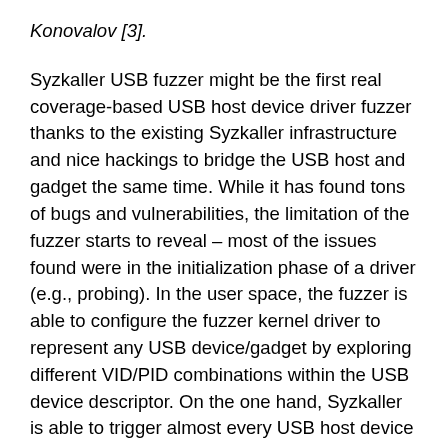Konovalov [3].
Syzkaller USB fuzzer might be the first real coverage-based USB host device driver fuzzer thanks to the existing Syzkaller infrastructure and nice hackings to bridge the USB host and gadget the same time. While it has found tons of bugs and vulnerabilities, the limitation of the fuzzer starts to reveal – most of the issues found were in the initialization phase of a driver (e.g., probing). In the user space, the fuzzer is able to configure the fuzzer kernel driver to represent any USB device/gadget by exploring different VID/PID combinations within the USB device descriptor. On the one hand, Syzkaller is able to trigger almost every USB host device driver to be loaded, thus having a prominent code coverage horizontally. On the other hand, since no real emulation code for a certain device is provided within the user space fuzzer or the